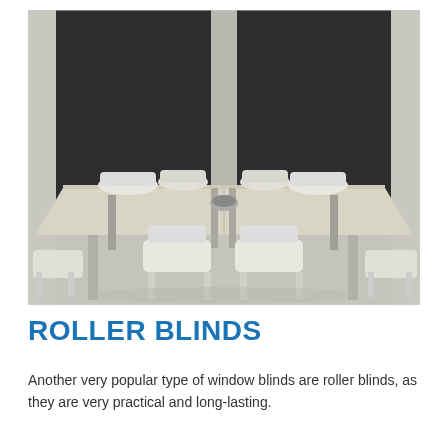[Figure (photo): A black and white / desaturated photo of a conference room showing a long rectangular table with white modern chairs around it, and two large dark roller blinds partially covering windows in the background.]
ROLLER BLINDS
Another very popular type of window blinds are roller blinds, as they are very practical and long-lasting.